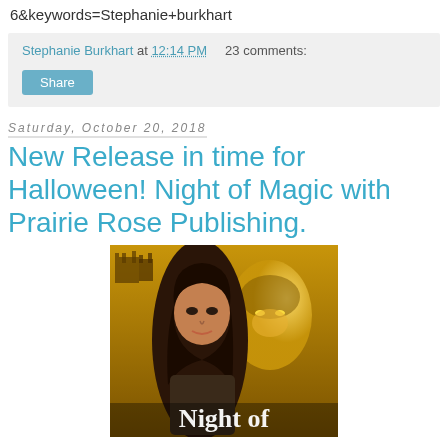6&keywords=Stephanie+burkhart
Stephanie Burkhart at 12:14 PM    23 comments:
Share
Saturday, October 20, 2018
New Release in time for Halloween! Night of Magic with Prairie Rose Publishing.
[Figure (photo): Book cover for 'Night of Magic' showing a dark-haired woman in the foreground and a hooded glowing figure in the background, with a castle, in golden/amber tones. Text at bottom reads 'Night of']